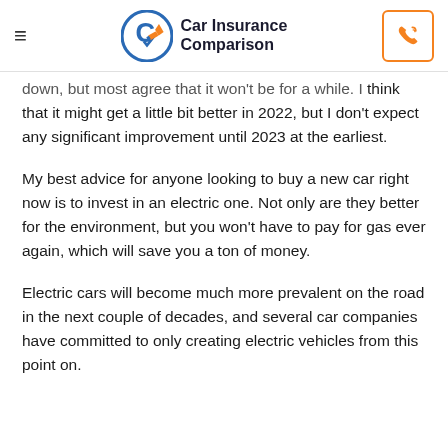Car Insurance Comparison
down, but most agree that it won't be for a while. I think that it might get a little bit better in 2022, but I don't expect any significant improvement until 2023 at the earliest.
My best advice for anyone looking to buy a new car right now is to invest in an electric one. Not only are they better for the environment, but you won't have to pay for gas ever again, which will save you a ton of money.
Electric cars will become much more prevalent on the road in the next couple of decades, and several car companies have committed to only creating electric vehicles from this point on.